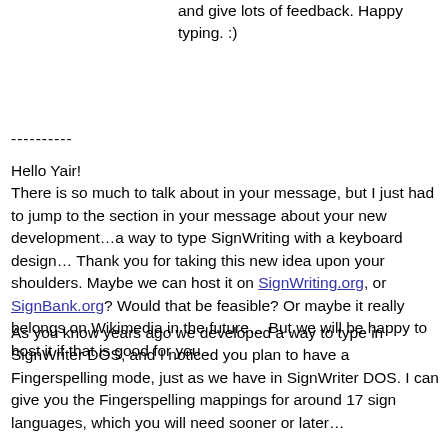and give lots of feedback. Happy typing. :)
----------
Hello Yair!
There is so much to talk about in your message, but I just had to jump to the section in your message about your new development…a way to type SignWriting with a keyboard design… Thank you for taking this new idea upon your shoulders. Maybe we can host it on SignWriting.org, or SignBank.org? Would that be feasible? Or maybe it really belongs on Wikimedia in the future… But we will be happy to host it if that is good for you...
As you know years ago we developed a way to type in SignWriter DOS, and I noticed you plan to have a Fingerspelling mode, just as we have in SignWriter DOS. I can give you the Fingerspelling mappings for around 17 sign languages, which you will need sooner or later…